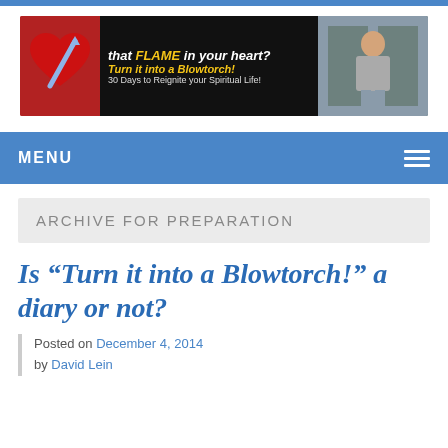[Figure (illustration): Website banner image showing a red heart with a flame/sword and text 'that FLAME in your heart? Turn it into a Blowtorch! 30 Days to Reignite your Spiritual Life!' alongside a photo of a man in a suit in a church setting]
MENU
ARCHIVE FOR PREPARATION
Is “Turn it into a Blowtorch!” a diary or not?
Posted on December 4, 2014
by David Lein